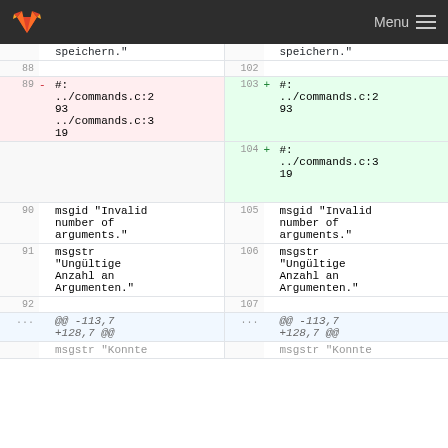GitLab logo | Menu ☰
| left-line | left-op | left-code | right-line | right-op | right-code |
| --- | --- | --- | --- | --- | --- |
|  |  | speichern." |  |  | speichern." |
| 88 |  |  | 102 |  |  |
| 89 | - | #: ../commands.c:293 ../commands.c:319 | 103 | + | #: ../commands.c:293 |
|  |  |  | 104 | + | #: ../commands.c:319 |
| 90 |  | msgid "Invalid number of arguments." | 105 |  | msgid "Invalid number of arguments." |
| 91 |  | msgstr "Ungültige Anzahl an Argumenten." | 106 |  | msgstr "Ungültige Anzahl an Argumenten." |
| 92 |  |  | 107 |  |  |
| ... |  | @@ -113,7 +128,7 @@ | ... |  | @@ -113,7 +128,7 @@ |
|  |  | msgstr "Konnte |  |  | msgstr "Konnte |